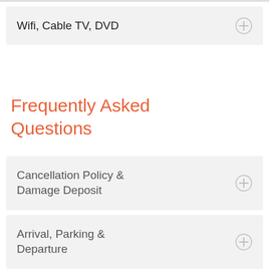Wifi, Cable TV, DVD
Frequently Asked Questions
Cancellation Policy & Damage Deposit
Arrival, Parking & Departure